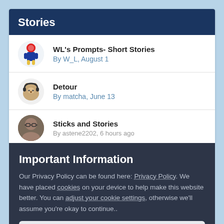Stories
WL's Prompts- Short Stories
By W_L, August 1
Detour
By matcha, June 13
Sticks and Stories
By astene2202, 6 hours ago
Important Information
Our Privacy Policy can be found here: Privacy Policy. We have placed cookies on your device to help make this website better. You can adjust your cookie settings, otherwise we'll assume you're okay to continue..
✓  I accept